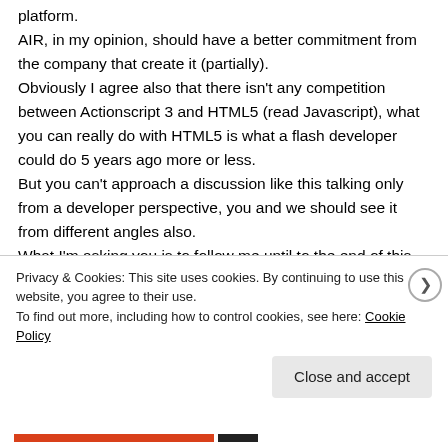platform. AIR, in my opinion, should have a better commitment from the company that create it (partially). Obviously I agree also that there isn't any competition between Actionscript 3 and HTML5 (read Javascript), what you can really do with HTML5 is what a flash developer could do 5 years ago more or less. But you can't approach a discussion like this talking only from a developer perspective, you and we should see it from different angles also. What I'm asking you is to follow me until to the end of this post then you can send me an email and ask me if I became totally crazy or insult me with a comment,
Privacy & Cookies: This site uses cookies. By continuing to use this website, you agree to their use.
To find out more, including how to control cookies, see here: Cookie Policy
Close and accept